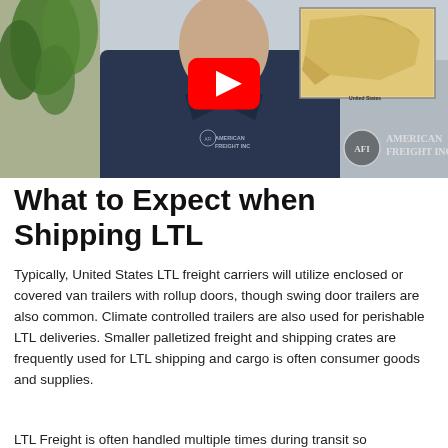[Figure (screenshot): Video thumbnail showing a man in a dark navy polo shirt with American Freight Inc logo, standing in front of a US map on the wall, with a plant to his left. A red YouTube play button is overlaid in the center. American Freight Inc logo with circular AFI emblem appears in the bottom right.]
What to Expect when Shipping LTL
Typically, United States LTL freight carriers will utilize enclosed or covered van trailers with rollup doors, though swing door trailers are also common. Climate controlled trailers are also used for perishable LTL deliveries. Smaller palletized freight and shipping crates are frequently used for LTL shipping and cargo is often consumer goods and supplies.
LTL Freight is often handled multiple times during transit so